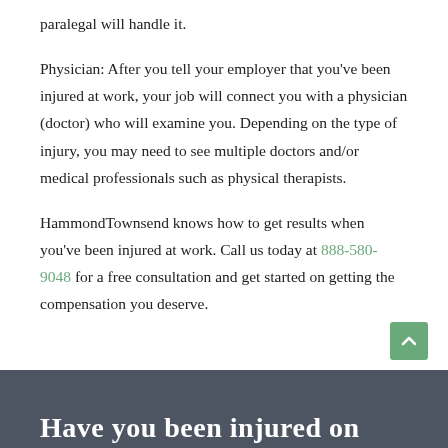paralegal will handle it.
Physician: After you tell your employer that you've been injured at work, your job will connect you with a physician (doctor) who will examine you. Depending on the type of injury, you may need to see multiple doctors and/or medical professionals such as physical therapists.
HammondTownsend knows how to get results when you've been injured at work. Call us today at 888-580-9048 for a free consultation and get started on getting the compensation you deserve.
Have you been injured on